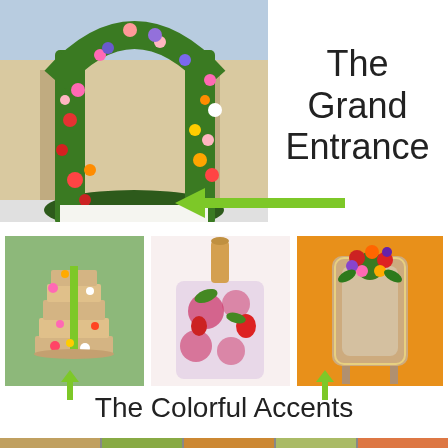[Figure (photo): Large flower arch with colorful blooms in front of a classical building, green foliage arch]
The Grand Entrance
[Figure (photo): Three small photos: a layered naked cake with colorful flowers, a floral ice bucket with wine bottle, and a chair decorated with red and orange flowers]
The Colorful Accents